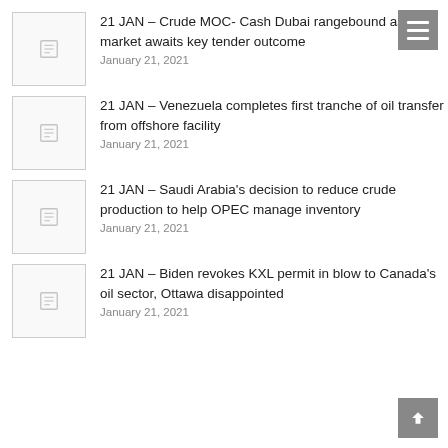21 JAN – Crude MOC- Cash Dubai rangebound as market awaits key tender outcome
January 21, 2021
21 JAN – Venezuela completes first tranche of oil transfer from offshore facility
January 21, 2021
21 JAN – Saudi Arabia's decision to reduce crude production to help OPEC manage inventory
January 21, 2021
21 JAN – Biden revokes KXL permit in blow to Canada's oil sector, Ottawa disappointed
January 21, 2021